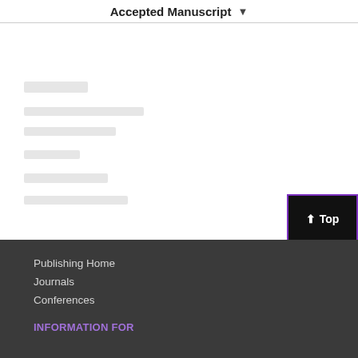Accepted Manuscript
[Figure (screenshot): Blurred/redacted article content lines below the Accepted Manuscript header]
Top
Publishing Home
Journals
Conferences
INFORMATION FOR